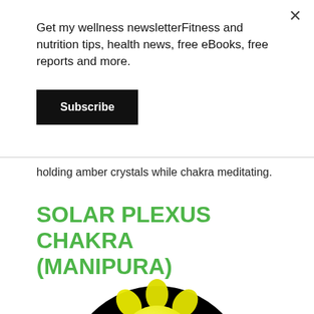Get my wellness newsletterFitness and nutrition tips, health news, free eBooks, free reports and more.
Subscribe
holding amber crystals while chakra meditating.
SOLAR PLEXUS CHAKRA (MANIPURA)
[Figure (illustration): Solar plexus chakra (Manipura) symbol — a yellow lotus flower with 10 petals on a black circular background, featuring a downward-pointing triangle in the center]